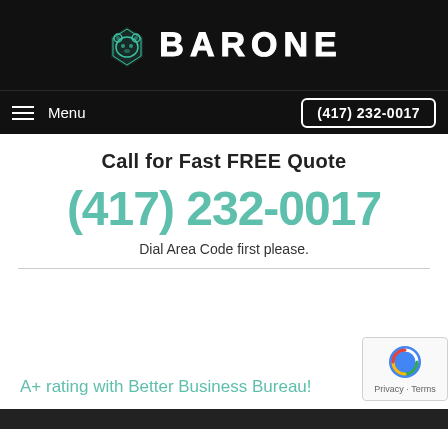BARONE
Menu  (417) 232-0017
Call for Fast FREE Quote
(417) 232-0017
Dial Area Code first please.
A+ rating with Better Business Bureau!